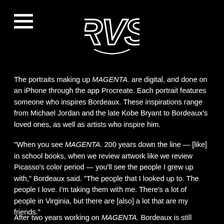RVS logo and hamburger menu
The portraits making up MAGENTA. are digital, and done on an iPhone through the app Procreate. Each portrait features someone who inspires Bordeaux. These inspirations range from Michael Jordan and the late Kobe Bryant to Bordeaux's loved ones, as well as artists who inspire him.
“When you see MAGENTA. 200 years down the line — [like] in school books, when we review artwork like we review Picasso’s color period — you’ll see the people I grew up with,” Bordeaux said. “The people that I looked up to. The people I love. I’m taking them with me. There’s a lot of people in Virginia, but there are [also] a lot that are my friends.”
After two years working on MAGENTA. Bordeaux is still